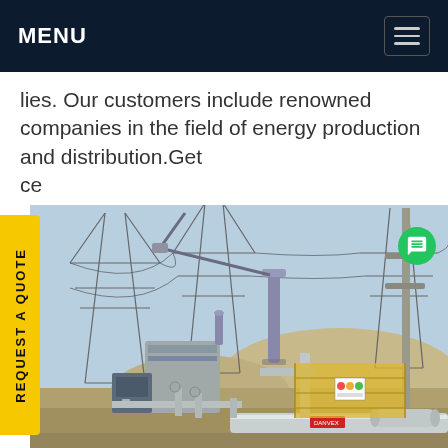MENU
lies. Our customers include renowned companies in the field of energy production and distribution.Get ce
[Figure (photo): Electrical substation with gas-insulated switchgear (GIS), transformers, large pipes, and high-voltage transmission towers in background against a clear sky.]
REQUEST A QUOTE